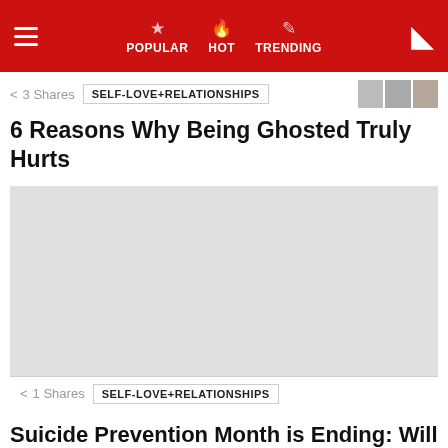POPULAR HOT TRENDING
3 Shares
SELF-LOVE+RELATIONSHIPS
6 Reasons Why Being Ghosted Truly Hurts
[Figure (photo): Light gray placeholder image for article about being ghosted]
1 Shares
SELF-LOVE+RELATIONSHIPS
Suicide Prevention Month is Ending: Will Awareness Finally Be More than a Trend?